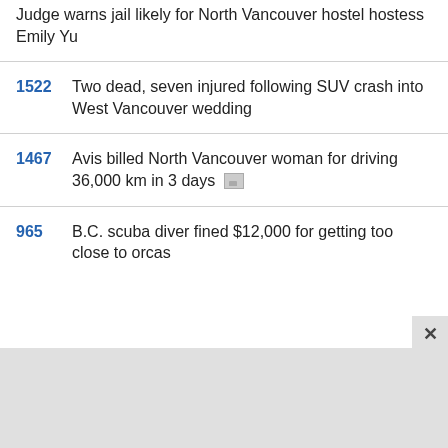Judge warns jail likely for North Vancouver hostel hostess Emily Yu
1522 Two dead, seven injured following SUV crash into West Vancouver wedding
1467 Avis billed North Vancouver woman for driving 36,000 km in 3 days
965 B.C. scuba diver fined $12,000 for getting too close to orcas